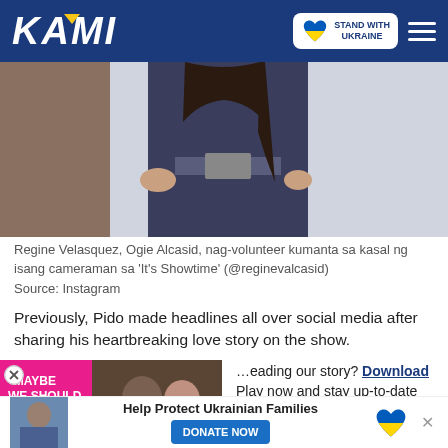KAMI — STAND WITH UKRAINE
[Figure (photo): Photo of a person wearing a dark blue velvet outfit, standing with hands on hips, with dark hair. Partial torso and mid-section visible.]
Regine Velasquez, Ogie Alcasid, nag-volunteer kumanta sa kasal ng isang cameraman sa 'It's Showtime' (@reginevalcasid)
Source: Instagram
Previously, Pido made headlines all over social media after sharing his heartbreaking love story on the show.
[Figure (screenshot): Video popup with pink background showing quote 'MAYBE WE SHOULD LET ME GO' with a play button and couple photo. A red down-arrow button is visible. Text to right reads: '...eading our story? Download' and 'Play now and stay up-to-date']
[Figure (infographic): Bottom banner: Help Protect Ukrainian Families with DONATE NOW button and Ukraine heart logo. An X close button is visible.]